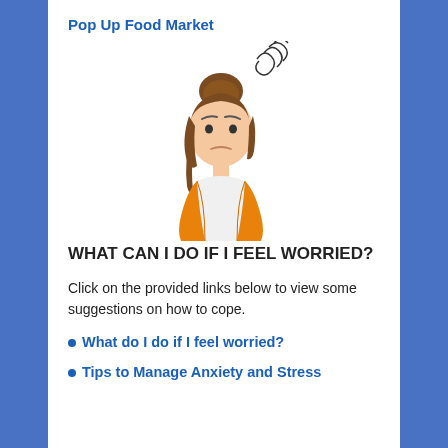Pop Up Food Market
[Figure (illustration): Illustration of a worried-looking woman with a bun hairstyle and swirly lines above her head indicating stress, wearing an orange cardigan.]
WHAT CAN I DO IF I FEEL WORRIED?
Click on the provided links below to view some suggestions on how to cope.
What do I do if I feel worried?
Tips to Manage Anxiety and Stress